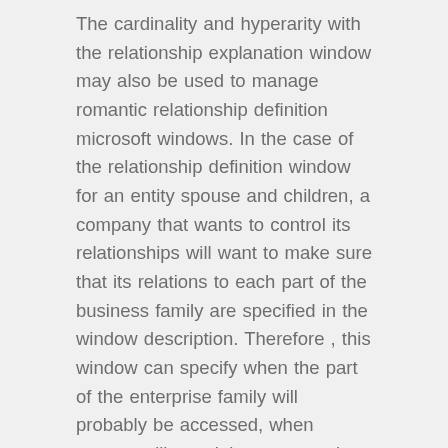The cardinality and hyperarity with the relationship explanation window may also be used to manage romantic relationship definition microsoft windows. In the case of the relationship definition window for an entity spouse and children, a company that wants to control its relationships will want to make sure that its relations to each part of the business family are specified in the window description. Therefore , this window can specify when the part of the enterprise family will probably be accessed, when contact will certainly occur or when confirming on past-time data or perhaps information out of another source. Nevertheless , a company that has no plans to enter into any formal marriage definitions having its subordinate family members may